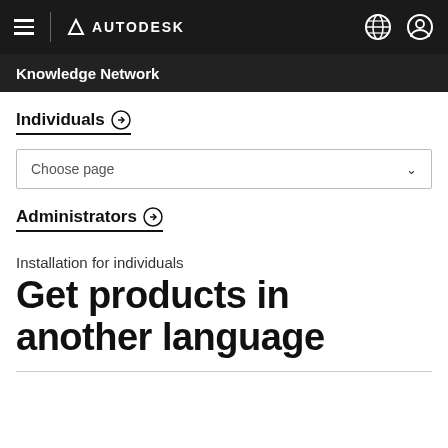AUTODESK
Knowledge Network
Individuals →
Choose page
Administrators →
Installation for individuals
Get products in another language